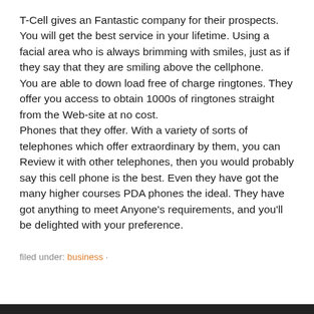T-Cell gives an Fantastic company for their prospects. You will get the best service in your lifetime. Using a facial area who is always brimming with smiles, just as if they say that they are smiling above the cellphone. You are able to down load free of charge ringtones. They offer you access to obtain 1000s of ringtones straight from the Web-site at no cost. Phones that they offer. With a variety of sorts of telephones which offer extraordinary by them, you can Review it with other telephones, then you would probably say this cell phone is the best. Even they have got the many higher courses PDA phones the ideal. They have got anything to meet Anyone's requirements, and you'll be delighted with your preference.
filed under: business ·